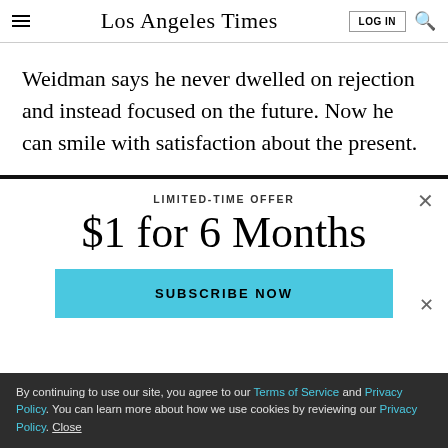Los Angeles Times
Weidman says he never dwelled on rejection and instead focused on the future. Now he can smile with satisfaction about the present.
LIMITED-TIME OFFER
$1 for 6 Months
SUBSCRIBE NOW
By continuing to use our site, you agree to our Terms of Service and Privacy Policy. You can learn more about how we use cookies by reviewing our Privacy Policy. Close